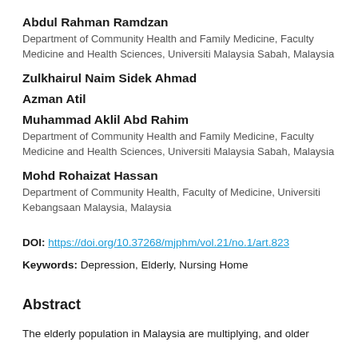Abdul Rahman Ramdzan
Department of Community Health and Family Medicine, Faculty Medicine and Health Sciences, Universiti Malaysia Sabah, Malaysia
Zulkhairul Naim Sidek Ahmad
Azman Atil
Muhammad Aklil Abd Rahim
Department of Community Health and Family Medicine, Faculty Medicine and Health Sciences, Universiti Malaysia Sabah, Malaysia
Mohd Rohaizat Hassan
Department of Community Health, Faculty of Medicine, Universiti Kebangsaan Malaysia, Malaysia
DOI: https://doi.org/10.37268/mjphm/vol.21/no.1/art.823
Keywords: Depression, Elderly, Nursing Home
Abstract
The elderly population in Malaysia are multiplying, and older